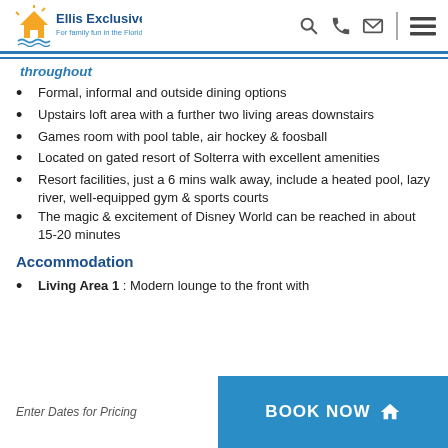Ellis Exclusive Villas — For family fun in the Florida sun
throughout
Formal, informal and outside dining options
Upstairs loft area with a further two living areas downstairs
Games room with pool table, air hockey & foosball
Located on gated resort of Solterra with excellent amenities
Resort facilities, just a 6 mins walk away, include a heated pool, lazy river, well-equipped gym & sports courts
The magic & excitement of Disney World can be reached in about 15-20 minutes
Accommodation
Living Area 1 : Modern lounge to the front with
Enter Dates for Pricing   BOOK NOW